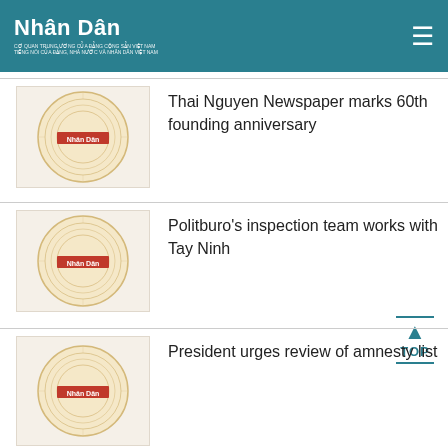Nhân Dân
[Figure (logo): Nhân Dân newspaper logo with circular emblem - article 1]
Thai Nguyen Newspaper marks 60th founding anniversary
[Figure (logo): Nhân Dân newspaper logo with circular emblem - article 2]
Politburo's inspection team works with Tay Ninh
[Figure (logo): Nhân Dân newspaper logo with circular emblem - article 3]
President urges review of amnesty list